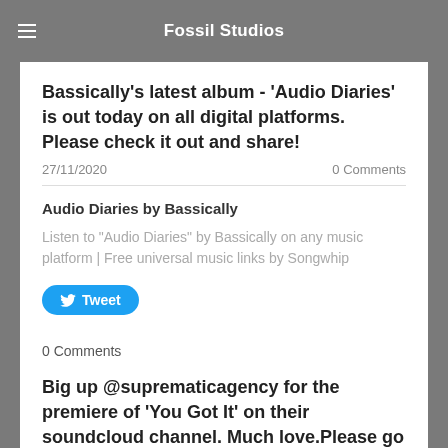Fossil Studios
Bassically's latest album - 'Audio Diaries' is out today on all digital platforms. Please check it out and share!
27/11/2020    0 Comments
Audio Diaries by Bassically
Listen to "Audio Diaries" by Bassically on any music platform | Free universal music links by Songwhip
[Figure (other): Tweet button with Twitter bird icon]
0 Comments
Big up @suprematicagency for the premiere of 'You Got It' on their soundcloud channel. Much love.Please go check out the Audio Diaries album.